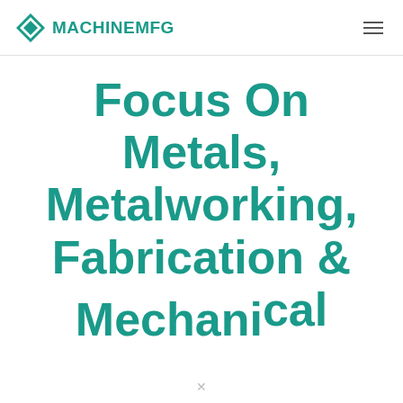MACHINEMFG
Focus On Metals, Metalworking, Fabrication & Mechanical